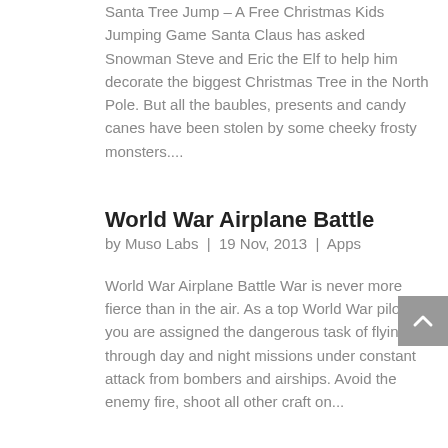Santa Tree Jump – A Free Christmas Kids Jumping Game Santa Claus has asked Snowman Steve and Eric the Elf to help him decorate the biggest Christmas Tree in the North Pole. But all the baubles, presents and candy canes have been stolen by some cheeky frosty monsters....
World War Airplane Battle
by Muso Labs  |  19 Nov, 2013  |  Apps
World War Airplane Battle War is never more fierce than in the air. As a top World War pilot you are assigned the dangerous task of flying through day and night missions under constant attack from bombers and airships. Avoid the enemy fire, shoot all other craft on...
Cast Iron Robot Wars
by Muso Labs  |  11 Jun, 2013  |  Apps